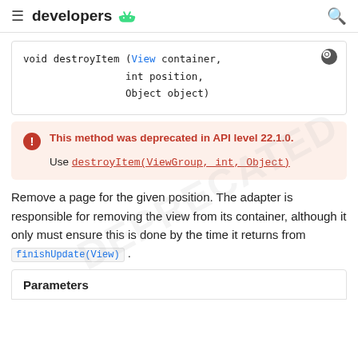developers
[Figure (screenshot): Code block showing: void destroyItem (View container, int position, Object object)]
This method was deprecated in API level 22.1.0. Use destroyItem(ViewGroup, int, Object)
Remove a page for the given position. The adapter is responsible for removing the view from its container, although it only must ensure this is done by the time it returns from finishUpdate(View).
Parameters